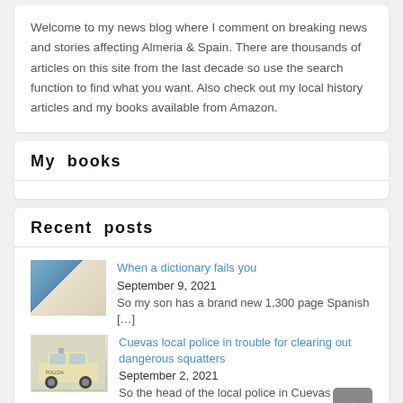Welcome to my news blog where I comment on breaking news and stories affecting Almeria & Spain. There are thousands of articles on this site from the last decade so use the search function to find what you want. Also check out my local history articles and my books available from Amazon.
My books
Recent posts
When a dictionary fails you
September 9, 2021
So my son has a brand new 1,300 page Spanish [...]
Cuevas local police in trouble for clearing out dangerous squatters
September 2, 2021
So the head of the local police in Cuevas was told [...]